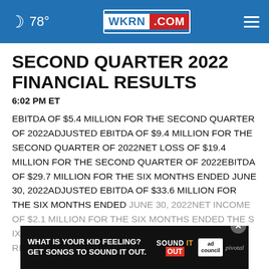78° WKRN.COM
SECOND QUARTER 2022 FINANCIAL RESULTS
6:02 PM ET
EBITDA OF $5.4 MILLION FOR THE SECOND QUARTER OF 2022ADJUSTED EBITDA OF $9.4 MILLION FOR THE SECOND QUARTER OF 2022NET LOSS OF $19.4 MILLION FOR THE SECOND QUARTER OF 2022EBITDA OF $29.7 MILLION FOR THE SIX MONTHS ENDED JUNE 30, 2022ADJUSTED EBITDA OF $33.6 MILLION FOR THE SIX MONTHS ENDED JUNE 30, 2022NET INCOME OF $2.1 MILLION FOR THE SIX MONTHS ENDED JUNE 30, 2022THE COMPANY REITERATES THAT IT EXPECTS TO OPEN 20 NEW
[Figure (other): Advertisement banner: WHAT IS YOUR KID FEELING? GET SONGS TO SOUND IT OUT. with ad council and pivotal logos]